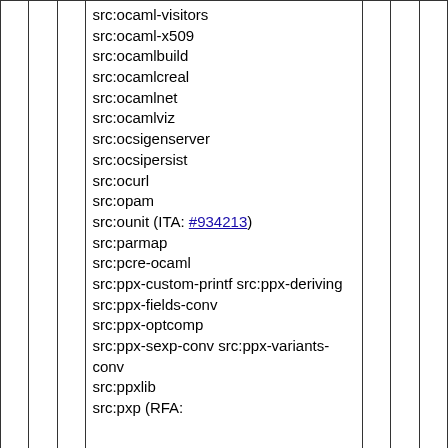|  |  |  | src:ocaml-visitors
src:ocaml-x509
src:ocamlbuild
src:ocamlcreal
src:ocamlnet
src:ocamlviz
src:ocsigenserver
src:ocsipersist
src:ocurl
src:opam
src:ounit (ITA: #934213)
src:parmap
src:pcre-ocaml
src:ppx-custom-printf src:ppx-deriving src:ppx-fields-conv
src:ppx-optcomp
src:ppx-sexp-conv src:ppx-variants-conv
src:ppxlib
src:pxp (RFA: |  |  |  |